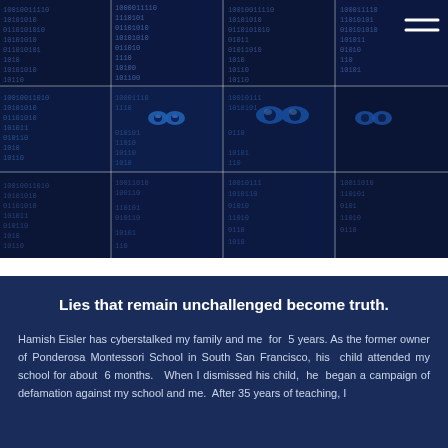[Figure (illustration): 3x4 grid mosaic of a cyber hacker figure with masked face and eyes visible over digital binary code numbers on dark blue background, repeated in tiled pattern]
Lies that remain unchallenged become truth.
Hamish Eisler has cyberstalked my family and me for 5 years. As the former owner of Ponderosa Montessori School in South San Francisco, his child attended my school for about 6 months. When I dismissed his child, he began a campaign of defamation against my school and me. After 35 years of teaching, I